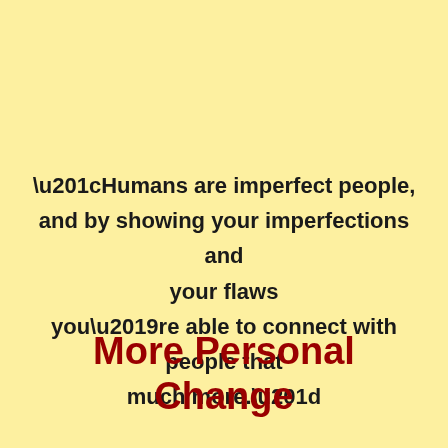“Humans are imperfect people, and by showing your imperfections and your flaws you’re able to connect with people that much more.”
More Personal Change